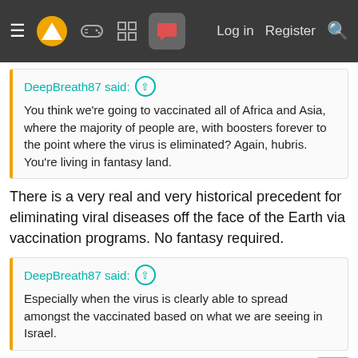Navigation bar with hamburger menu, logo, game controller icon, grid icon, chat icon (active), Log in, Register, Search
DeepBreath87 said: ↑
You think we're going to vaccinated all of Africa and Asia, where the majority of people are, with boosters forever to the point where the virus is eliminated? Again, hubris. You're living in fantasy land.
There is a very real and very historical precedent for eliminating viral diseases off the face of the Earth via vaccination programs. No fantasy required.
DeepBreath87 said: ↑
Especially when the virus is clearly able to spread amongst the vaccinated based on what we are seeing in Israel.
Yes, it's possible, but that's not the whole story. There is a much larger capacity and probability for spread amongst the unvaccinated populations. This is the nature of communicable diseases. If everyone is vaccinated, the R0 is effectively zero, and the virus is eliminated.